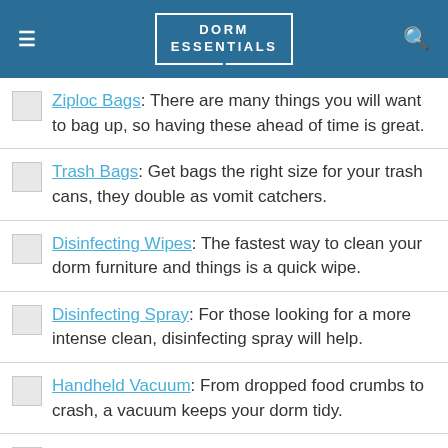DORM ESSENTIALS
Ziploc Bags: There are many things you will want to bag up, so having these ahead of time is great.
Trash Bags: Get bags the right size for your trash cans, they double as vomit catchers.
Disinfecting Wipes: The fastest way to clean your dorm furniture and things is a quick wipe.
Disinfecting Spray: For those looking for a more intense clean, disinfecting spray will help.
Handheld Vacuum: From dropped food crumbs to crash, a vacuum keeps your dorm tidy.